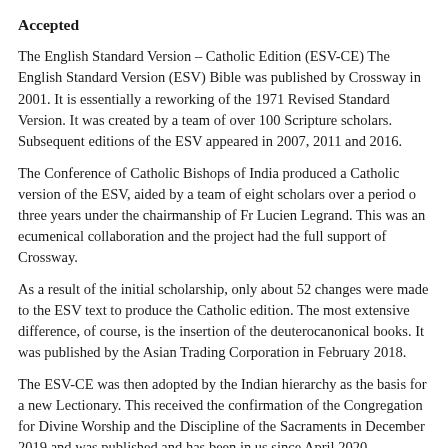Accepted
The English Standard Version – Catholic Edition (ESV-CE) The English Standard Version (ESV) Bible was published by Crossway in 2001. It is essentially a reworking of the 1971 Revised Standard Version. It was created by a team of over 100 Scripture scholars. Subsequent editions of the ESV appeared in 2007, 2011 and 2016.
The Conference of Catholic Bishops of India produced a Catholic version of the ESV, aided by a team of eight scholars over a period of three years under the chairmanship of Fr Lucien Legrand. This was an ecumenical collaboration and the project had the full support of Crossway.
As a result of the initial scholarship, only about 52 changes were made to the ESV text to produce the Catholic edition. The most extensive difference, of course, is the insertion of the deuterocanonical books. It was published by the Asian Trading Corporation in February 2018.
The ESV-CE was then adopted by the Indian hierarchy as the basis for a new Lectionary. This received the confirmation of the Congregation for Divine Worship and the Discipline of the Sacraments in December 2019 and was published and has been in us since April 2020.